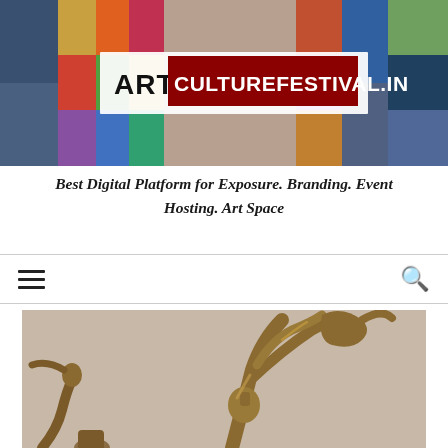[Figure (photo): Banner for ArtCultureFestival.in website showing a colorful mosaic of art images in the background with the website logo overlaid. Logo shows 'ART' in black on white background and 'CULTUREFESTIVAL.IN' in white text on dark red/maroon background.]
Best Digital Platform for Exposure. Branding. Event Hosting. Art Space
[Figure (infographic): Website navigation bar with hamburger menu icon on left and search icon on right, with horizontal divider lines above and below.]
[Figure (photo): Photograph of a bronze sculpture of a human figure in an expressive pose, with arms raised and body twisting. The sculpture has a golden-bronze metallic finish. The upper portion of the sculpture is visible including the head and raised arms. Shot against a neutral beige/tan background.]